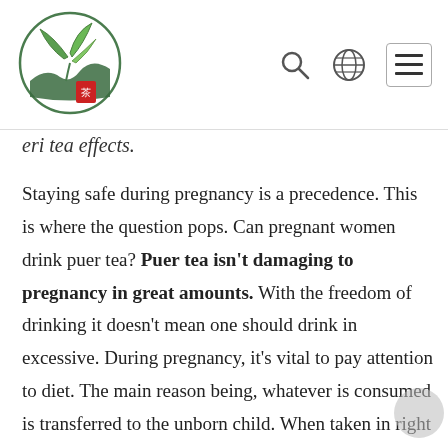[Tea website logo with search, language, and menu icons]
eri tea effects.
Staying safe during pregnancy is a precedence. This is where the question pops. Can pregnant women drink puer tea? Puer tea isn't damaging to pregnancy in great amounts. With the freedom of drinking it doesn't mean one should drink in excessive. During pregnancy, it's vital to pay attention to diet. The main reason being, whatever is consumed is transferred to the unborn child. When taken in right amounts, this beverage can be beneficial. It contains polyphenols that protect the heart. Polyphenols have antioxidants which improve immunity and lower inflammation risks. It also has vitamins and minerals that improve general health in the body. Pur tea has water retention